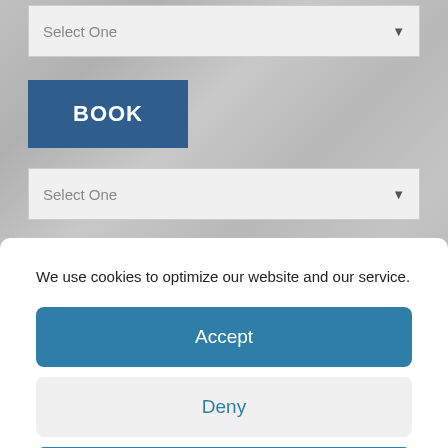[Figure (screenshot): Website background with stone/gravel texture]
Select One
BOOK
Select One
We use cookies to optimize our website and our service.
Accept
Deny
Preferences
Cookie Policy